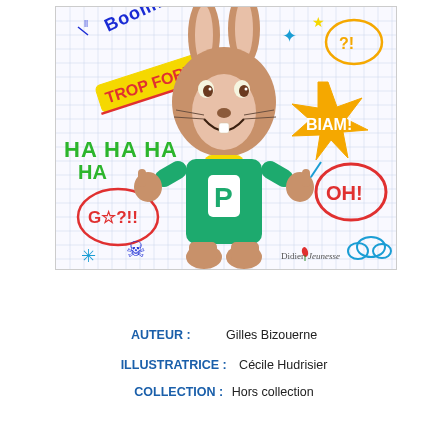[Figure (illustration): Book cover illustration showing a cartoon rabbit character wearing a green 'P' shirt and yellow backpack, giving thumbs up, surrounded by colorful comic-style drawings including 'BOOM!', 'TROP FORT!', 'HAHAHA', 'BIAM!', 'OH!', stars, skull-and-crossbones, and speech bubbles on a graph-paper background. Publisher logo 'Didier Jeunesse' in bottom right corner.]
AUTEUR :          Gilles Bizouerne
ILLUSTRATRICE :      Cécile Hudrisier
COLLECTION : Hors collection